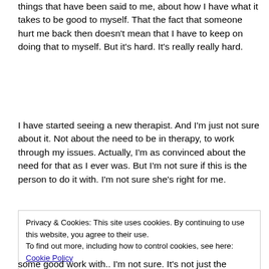things that have been said to me, about how I have what it takes to be good to myself. That the fact that someone hurt me back then doesn't mean that I have to keep on doing that to myself. But it's hard. It's really really hard.
I have started seeing a new therapist. And I'm just not sure about it. Not about the need to be in therapy, to work through my issues. Actually, I'm as convinced about the need for that as I ever was. But I'm not sure if this is the person to do it with. I'm not sure she's right for me.
Privacy & Cookies: This site uses cookies. By continuing to use this website, you agree to their use.
To find out more, including how to control cookies, see here: Cookie Policy
Close and accept
some good work with.. I'm not sure. It's not just the language barrier